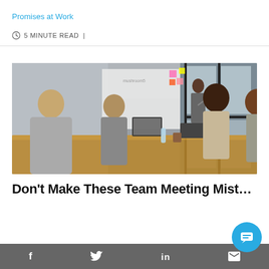Promises at Work
5 MINUTE READ |
[Figure (photo): Office meeting scene: several people seated around a conference table with laptops, notebooks, and drinks; one person standing at a whiteboard presenting]
Don't Make These Team Meeting Mist…
f  [twitter bird]  in  [envelope]